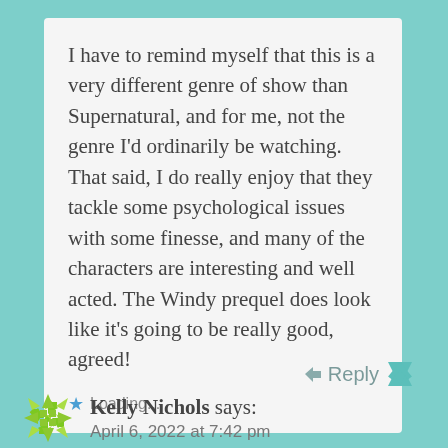I have to remind myself that this is a very different genre of show than Supernatural, and for me, not the genre I'd ordinarily be watching. That said, I do really enjoy that they tackle some psychological issues with some finesse, and many of the characters are interesting and well acted. The Windy prequel does look like it's going to be really good, agreed!
Loading...
Reply
Kelly Nichols says: April 6, 2022 at 7:42 pm